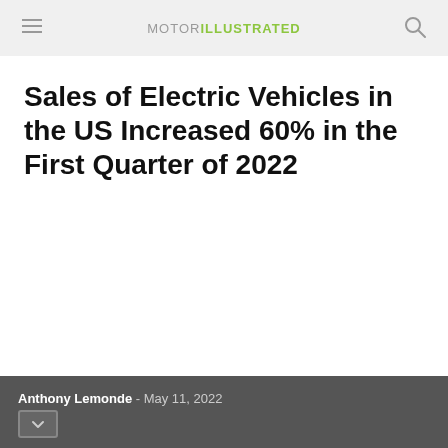MOTOR ILLUSTRATED
Sales of Electric Vehicles in the US Increased 60% in the First Quarter of 2022
Anthony Lemonde - May 11, 2022